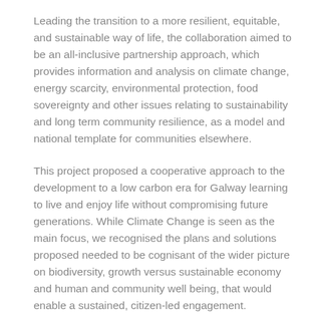Leading the transition to a more resilient, equitable, and sustainable way of life, the collaboration aimed to be an all-inclusive partnership approach, which provides information and analysis on climate change, energy scarcity, environmental protection, food sovereignty and other issues relating to sustainability and long term community resilience, as a model and national template for communities elsewhere.
This project proposed a cooperative approach to the development to a low carbon era for Galway learning to live and enjoy life without compromising future generations. While Climate Change is seen as the main focus, we recognised the plans and solutions proposed needed to be cognisant of the wider picture on biodiversity, growth versus sustainable economy and human and community well being, that would enable a sustained, citizen-led engagement.
We aimed to work on new ways to educate and